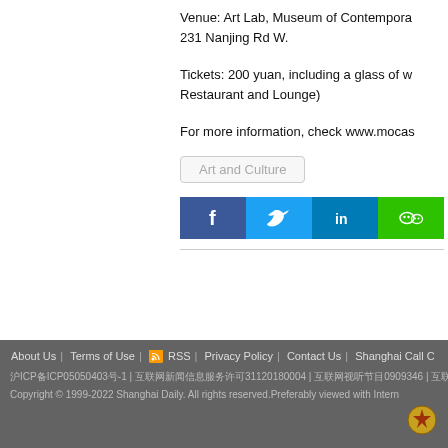Venue: Art Lab, Museum of Contemporary Art, 231 Nanjing Rd W.
Tickets: 200 yuan, including a glass of wine (redeemable at MOCA Restaurant and Lounge)
For more information, check www.mocas
Art and Culture
[Figure (other): Social media share buttons: Facebook, Twitter, LinkedIn, WeChat]
About Us | Terms of Use | RSS | Privacy Policy | Contact Us | Shanghai Call C... | ICP...ICP050504030-1 | ...31120180004 | ...0909346 | ...35 | Copyright © 1999-2022 Shanghai Daily. All rights reserved. Preferably viewed with Intern...